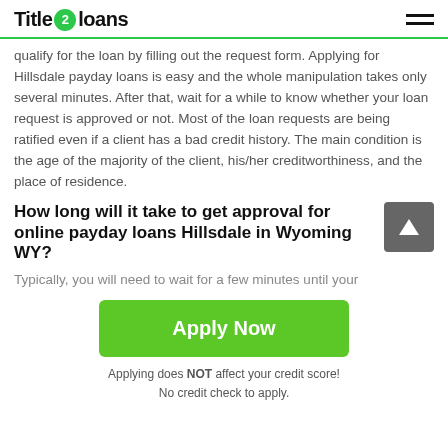Title 2 loans
qualify for the loan by filling out the request form. Applying for Hillsdale payday loans is easy and the whole manipulation takes only several minutes. After that, wait for a while to know whether your loan request is approved or not. Most of the loan requests are being ratified even if a client has a bad credit history. The main condition is the age of the majority of the client, his/her creditworthiness, and the place of residence.
How long will it take to get approval for online payday loans Hillsdale in Wyoming WY?
Typically, you will need to wait for a few minutes until your
Apply Now
Applying does NOT affect your credit score!
No credit check to apply.